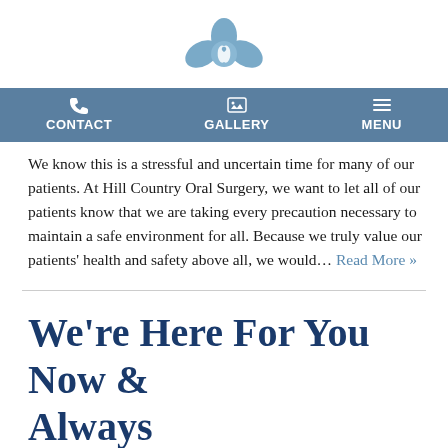[Figure (logo): Hill Country Oral Surgery logo — stylized blue flower/clover shape with tooth motif]
CONTACT   GALLERY   MENU
We know this is a stressful and uncertain time for many of our patients. At Hill Country Oral Surgery, we want to let all of our patients know that we are taking every precaution necessary to maintain a safe environment for all. Because we truly value our patients' health and safety above all, we would… Read More »
We're Here For You Now & Always